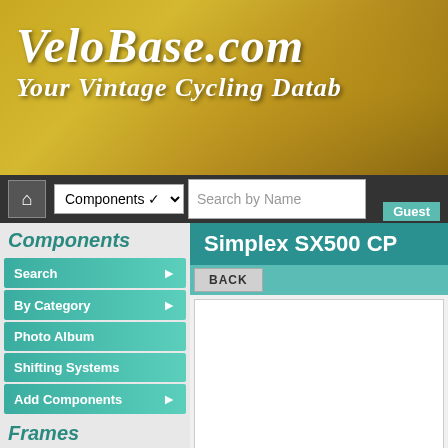[Figure (screenshot): VeloBase.com website header banner with golden/yellow background showing site logo and tagline 'Your Vintage Cycling Database']
VeloBase.com - Your Vintage Cycling Datab...
Components
Search
By Category
Photo Album
Shifting Systems
Add Components
Frames
Bicycles & Frames
Head Badges
Frame Parts
Add Frame Items
Other Collections
Simplex SX500 CP
BACK